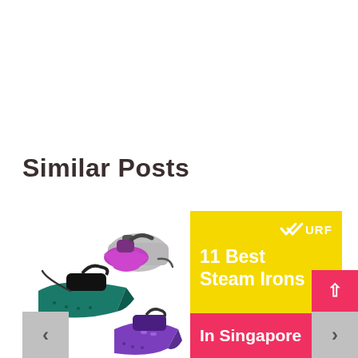Similar Posts
[Figure (photo): Product image showing three steam irons: a purple steam generator iron with separate water tank, a teal/black steam iron, and a purple cordless steam iron arranged as a collage. Navigation arrows (left/right) are shown below the image area.]
11 Best Steam Irons In Singapore
[Figure (logo): WURF logo with double checkmark in white on yellow background]